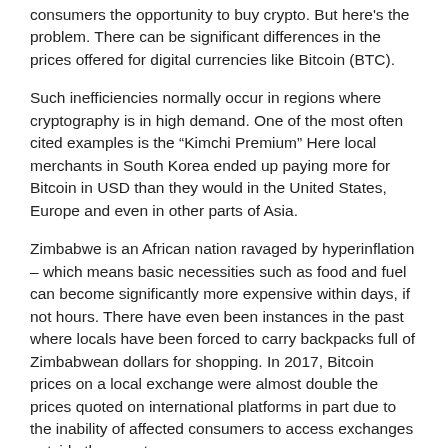consumers the opportunity to buy crypto. But here's the problem. There can be significant differences in the prices offered for digital currencies like Bitcoin (BTC).
Such inefficiencies normally occur in regions where cryptography is in high demand. One of the most often cited examples is the "Kimchi Premium" Here local merchants in South Korea ended up paying more for Bitcoin in USD than they would in the United States, Europe and even in other parts of Asia.
Zimbabwe is an African nation ravaged by hyperinflation – which means basic necessities such as food and fuel can become significantly more expensive within days, if not hours. There have even been instances in the past where locals have been forced to carry backpacks full of Zimbabwean dollars for shopping. In 2017, Bitcoin prices on a local exchange were almost double the prices quoted on international platforms in part due to the inability of affected consumers to access exchanges outside the country.
Bitcoin has also traded cheaply in Hong Kong amid the ongoing political turmoil. In August, traders paid 2% more per piece than